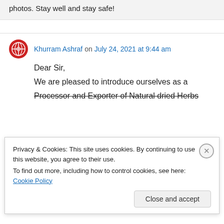photos. Stay well and stay safe!
Khurram Ashraf on July 24, 2021 at 9:44 am
Dear Sir,
We are pleased to introduce ourselves as a
Processor and Exporter of Natural dried Herbs
Privacy & Cookies: This site uses cookies. By continuing to use this website, you agree to their use.
To find out more, including how to control cookies, see here: Cookie Policy